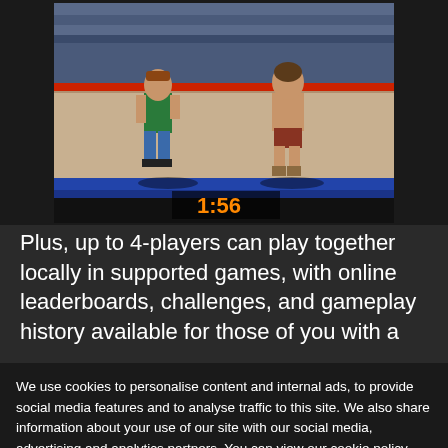[Figure (screenshot): Retro fighting video game screenshot showing two fighters in a wrestling ring with a timer showing 1:56]
Plus, up to 4-players can play together locally in supported games, with online leaderboards, challenges, and gameplay history available for those of you with a
We use cookies to personalise content and internal ads, to provide social media features and to analyse traffic to this site. We also share information about your use of our site with our social media, advertising and analytics partners. You can view our cookie policy, including information on exercising your rights to withdraw consent.
Cookie Policy
SONSO
SAVAGE BEES